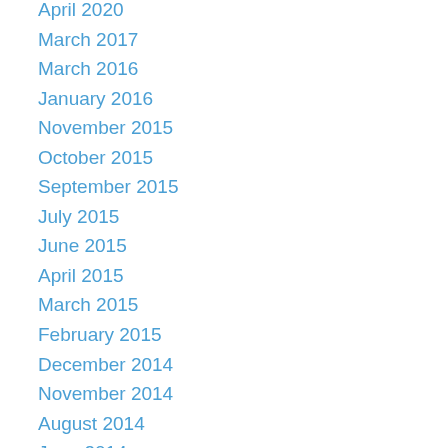April 2020
March 2017
March 2016
January 2016
November 2015
October 2015
September 2015
July 2015
June 2015
April 2015
March 2015
February 2015
December 2014
November 2014
August 2014
June 2014
May 2014
April 2014
March 2014
December 2013